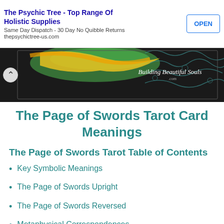[Figure (screenshot): App store advertisement banner for 'The Psychic Tree - Top Range Of Holistic Supplies' with an OPEN button, subtitle 'Same Day Dispatch - 30 Day No Quibble Returns', URL thepsychictree-us.com]
[Figure (photo): Dark decorative banner image for Building Beautiful Souls website with colorful wave and ornamental designs]
The Page of Swords Tarot Card Meanings
The Page of Swords Tarot Table of Contents
Key Symbolic Meanings
The Page of Swords Upright
The Page of Swords Reversed
Metaphysical Correspondences